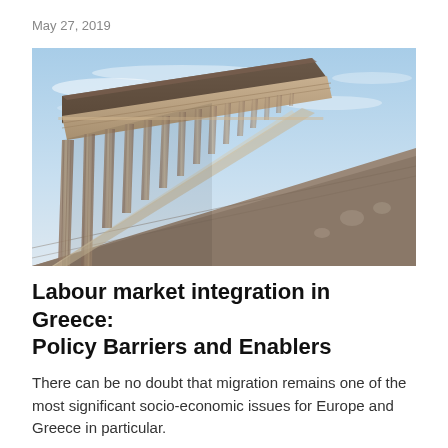May 27, 2019
[Figure (photo): Low-angle photograph of a classical Greek or neoclassical temple with tall Doric columns and stone steps, taken against a blue sky with light clouds.]
Labour market integration in Greece: Policy Barriers and Enablers
There can be no doubt that migration remains one of the most significant socio-economic issues for Europe and Greece in particular.